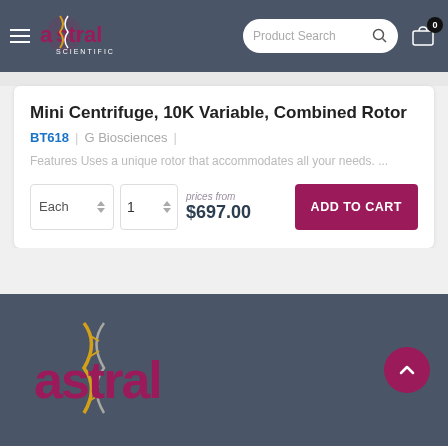Astral Scientific — Product Search
Mini Centrifuge, 10K Variable, Combined Rotor
BT618 | G Biosciences |
Features Uses a unique rotor that accommodates all your needs. ...
prices from $697.00
[Figure (logo): Astral Scientific logo in footer]
Astral Scientific footer with back-to-top button